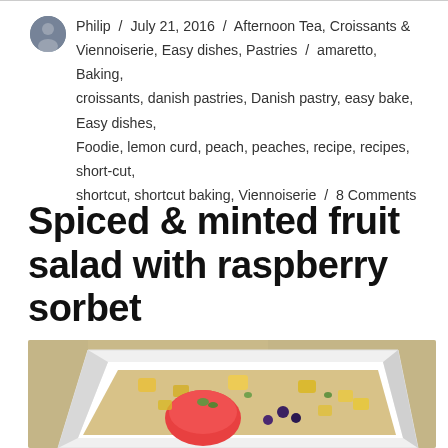Philip / July 21, 2016 / Afternoon Tea, Croissants & Viennoiserie, Easy dishes, Pastries / amaretto, Baking, croissants, danish pastries, Danish pastry, easy bake, Easy dishes, Foodie, lemon curd, peach, peaches, recipe, recipes, short-cut, shortcut, shortcut baking, Viennoiserie / 8 Comments
Spiced & minted fruit salad with raspberry sorbet
[Figure (photo): A white serving dish containing a colorful fruit salad with visible fruit pieces including what appears to be watermelon, pineapple chunks, berries, and herbs, photographed from above at an angle on a stone or concrete surface.]